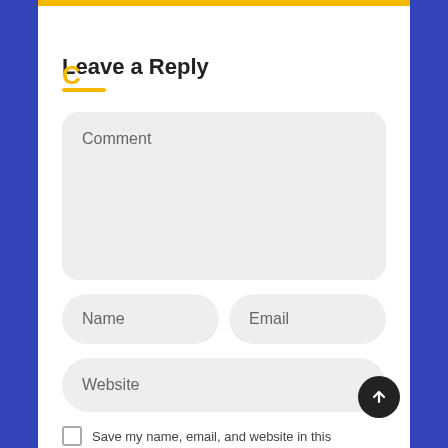[Figure (screenshot): Web comment form UI with 'Leave a Reply' heading, comment textarea, Name and Email fields, Website field with scroll-to-top button, and a save checkbox row]
Leave a Reply
Comment
Name
Email
Website
Save my name, email, and website in this